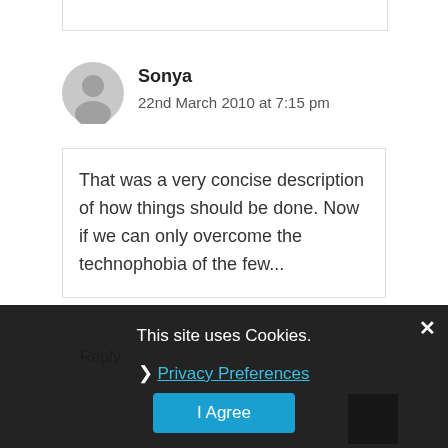[Figure (illustration): Partial top border box from previous comment, white background]
[Figure (illustration): Grey circular avatar/profile icon for user Sonya]
Sonya
22nd March 2010 at 7:15 pm
That was a very concise description of how things should be done. Now if we can only overcome the technophobia of the few...
Reply
This site uses Cookies.
Privacy Preferences
I Agree